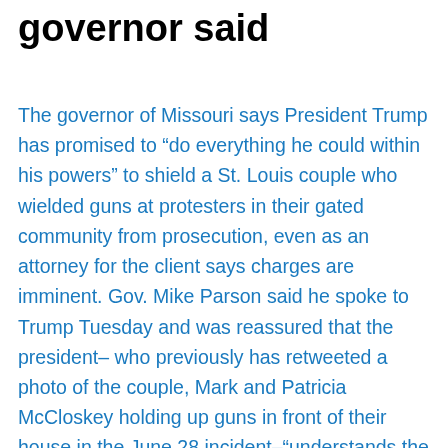governor said
The governor of Missouri says President Trump has promised to “do everything he could within his powers” to shield a St. Louis couple who wielded guns at protesters in their gated community from prosecution, even as an attorney for the client says charges are imminent. Gov. Mike Parson said he spoke to Trump Tuesday and was reassured that the president– who previously has retweeted a photo of the couple, Mark and Patricia McCloskey holding up guns in front of their house in the June 28 incident–“understands the situation in Missouri.” “He understands the situation in St. Louis and how out of control it is for a prosecutor to let violent criminals off and not do their job and try to attack law-abiding citizens,” Parson said at a press conference. “The conversation I